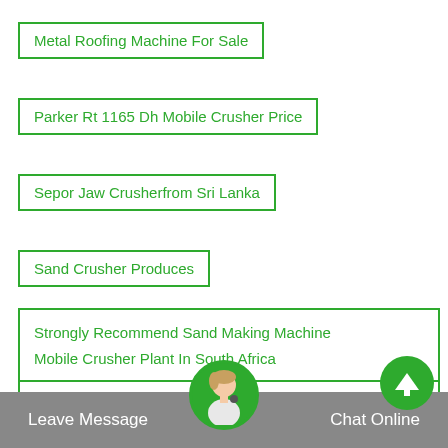Metal Roofing Machine For Sale
Parker Rt 1165 Dh Mobile Crusher Price
Sepor Jaw Crusherfrom Sri Lanka
Sand Crusher Produces
Strongly Recommend Sand Making Machine
Mobile Crusher Plant In South Africa
Mobil Crusher For Sale Oman Amp Uaein
Oman
Leave Message   Chat Online